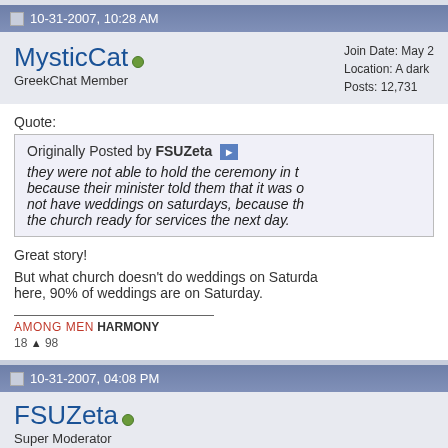10-31-2007, 10:28 AM
MysticCat  GreekChat Member
Join Date: May  Location: A dark  Posts: 12,731
Quote: Originally Posted by FSUZeta  they were not able to hold the ceremony in t... because their minister told them that it was o... not have weddings on saturdays, because th... the church ready for services the next day.
Great story!
But what church doesn't do weddings on Saturda... here, 90% of weddings are on Saturday.
AMONG MEN HARMONY
18 ▲ 98
10-31-2007, 04:08 PM
FSUZeta  Super Moderator
it...